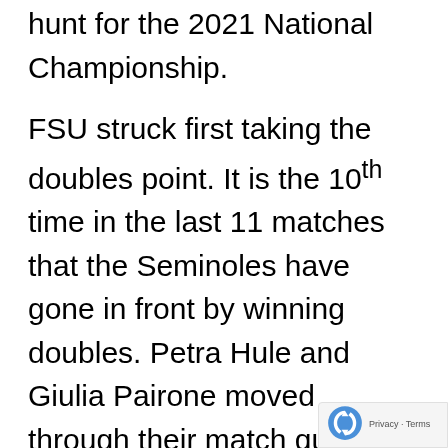hunt for the 2021 National Championship.
FSU struck first taking the doubles point. It is the 10th time in the last 11 matches that the Seminoles have gone in front by winning doubles. Petra Hule and Giulia Pairone moved through their match quickly, securing the first win with a 6-2 victory. The other two matches were much more closely contested. The Seminoles' top two pairs, Andrea Garcia and Nandini Das and Emmanuelle Salas and Giulia Pairone both were tied at 5-5 in their matches